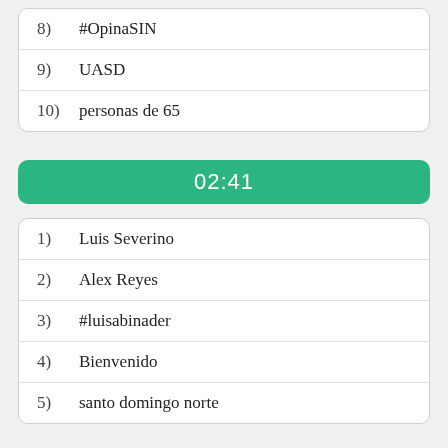8) #OpinaSIN
9) UASD
10) personas de 65
02:41
1) Luis Severino
2) Alex Reyes
3) #luisabinader
4) Bienvenido
5) santo domingo norte